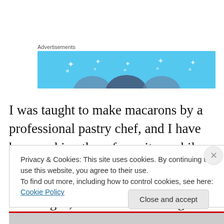Advertisements
[Figure (illustration): Blue advertisement banner with circular shapes and sparkle dots]
I was taught to make macarons by a professional pastry chef, and I have been making them for quite a while know….just shy of three weeks.  So I've learned a thing or two.  Mostly…the thing is, there is not one single thing you can do on-the-fly with these little bastards.  Call it mise en
Privacy & Cookies: This site uses cookies. By continuing to use this website, you agree to their use.
To find out more, including how to control cookies, see here: Cookie Policy
Close and accept